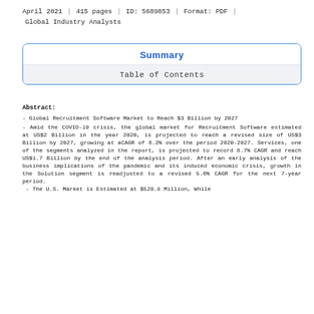April 2021 | 415 pages | ID: 5689853 | Format: PDF | Global Industry Analysts
Summary
Table of Contents
Abstract:
- Global Recruitment Software Market to Reach $3 Billion by 2027
- Amid the COVID-19 crisis, the global market for Recruitment Software estimated at US$2 Billion in the year 2020, is projected to reach a revised size of US$3 Billion by 2027, growing at aCAGR of 6.2% over the period 2020-2027. Services, one of the segments analyzed in the report, is projected to record 6.7% CAGR and reach US$1.7 Billion by the end of the analysis period. After an early analysis of the business implications of the pandemic and its induced economic crisis, growth in the Solution segment is readjusted to a revised 5.6% CAGR for the next 7-year period.
- The U.S. Market is Estimated at $529.8 Million, While...